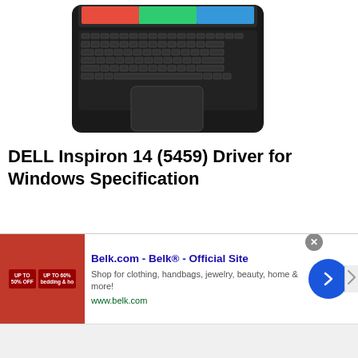[Figure (photo): Top-down view of a Dell Inspiron 14 laptop showing keyboard and trackpad]
DELL Inspiron 14 (5459) Driver for Windows Specification
Color : BLACK, RED, SILVER.
Processor : 6th Generation Intel Core i5-6200U Processor 2.3GHz (3M Cache, up to 2.80GHz)
[Figure (screenshot): Advertisement banner for Belk.com - Belk® - Official Site. Shop for clothing, handbags, jewelry, beauty, home & more! www.belk.com]